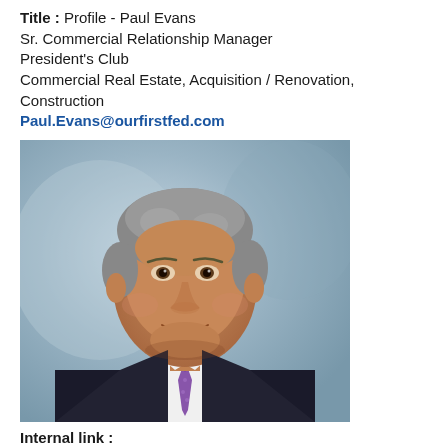Title : Profile - Paul Evans
Sr. Commercial Relationship Manager
President's Club
Commercial Real Estate, Acquisition / Renovation, Construction
Paul.Evans@ourfirstfed.com
[Figure (photo): Professional headshot of Paul Evans, a middle-aged man with grey hair wearing a dark suit and purple tie, posed against a blue background.]
Internal link :